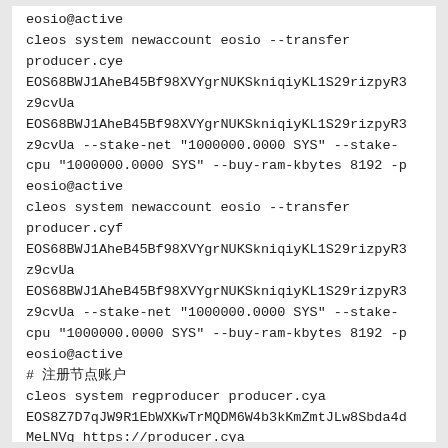eosio@active
cleos system newaccount eosio --transfer producer.cye EOS68BWJ1AheB45Bf98XVYgrNUKSkniqiyKL1S29rizpyR3z9cvUa EOS68BWJ1AheB45Bf98XVYgrNUKSkniqiyKL1S29rizpyR3z9cvUa --stake-net "1000000.0000 SYS" --stake-cpu "1000000.0000 SYS" --buy-ram-kbytes 8192 -p eosio@active
cleos system newaccount eosio --transfer producer.cyf EOS68BWJ1AheB45Bf98XVYgrNUKSkniqiyKL1S29rizpyR3z9cvUa EOS68BWJ1AheB45Bf98XVYgrNUKSkniqiyKL1S29rizpyR3z9cvUa --stake-net "1000000.0000 SYS" --stake-cpu "1000000.0000 SYS" --buy-ram-kbytes 8192 -p eosio@active
# 注册节点账户
cleos system regproducer producer.cya EOS8Z7D7qJW9R1EbWXKwTrMQDM6W4b3kKmZmtJLw8Sbda4dMeLNVq https://producer.cya
cleos system regproducer producer.cyb EOS8Z7D7qJW9R1EbWXKwTrMQDM6W4b3kKmZmtJLw8Sbda4dMeLNVq https://producer.cyb